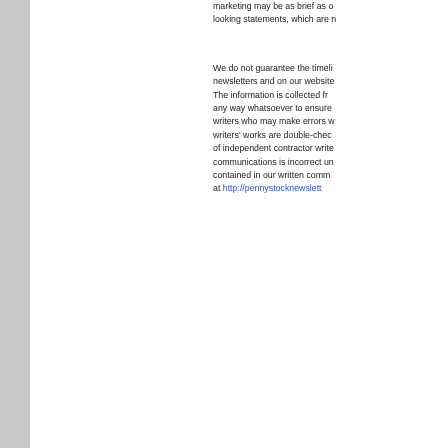marketing may be as brief as o... looking statements, which are n...
We do not guarantee the timeliness of... newsletters and on our website... The information is collected fr... any way whatsoever to ensure ... writers who may make errors w... writers' works are double-chec... of independent contractor write... communications is incorrect un... contained in our written comm... at http://pennystocknewslett...
This message was sent to xxxxxx@gma...
Penny Stock Newsletters | info@pennys... 35th Street | Chicago, IL 60609
© 2007 - 2011